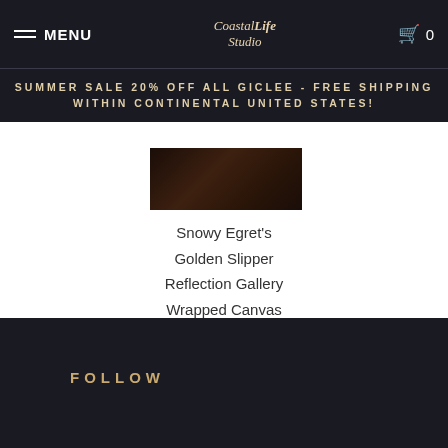MENU | Coastal Life Studio | 0
SUMMER SALE 20% OFF ALL GICLEE - FREE SHIPPING WITHIN CONTINENTAL UNITED STATES!
[Figure (photo): Dark product image thumbnail showing an egret or bird in low-light conditions]
Snowy Egret's
Golden Slipper
Reflection Gallery
Wrapped Canvas
Giclee
Barbara Fallenbaum
from $95.00
FOLLOW